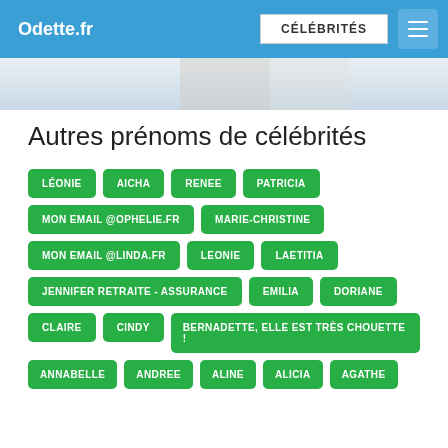Odette.fr | CÉLÉBRITÉS
[Figure (photo): Hero image strip - partial photo of a person in a light-colored top]
Autres prénoms de célébrités
LÉONIE
AICHA
RENEE
PATRICIA
MON EMAIL @OPHELIE.FR
MARIE-CHRISTINE
MON EMAIL @LINDA.FR
LEONIE
LAETITIA
JENNIFER RETRAITE - ASSURANCE
EMILIA
DORIANE
CLAIRE
CINDY
BERNADETTE, ELLE EST TRÈS CHOUETTE !
ANNABELLE
ANDREE
ALINE
ALICIA
AGATHE